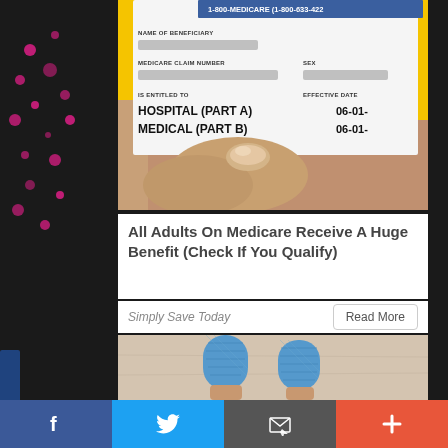[Figure (photo): A hand holding a Medicare card showing 1-800-MEDICARE (1-800-633-4227), with fields for NAME OF BENEFICIARY, MEDICARE CLAIM NUMBER, SEX, IS ENTITLED TO: HOSPITAL (PART A) 06-01-, MEDICAL (PART B) 06-01-, EFFECTIVE DATE. Personal information is blurred/redacted. Background is yellow.]
All Adults On Medicare Receive A Huge Benefit (Check If You Qualify)
Simply Save Today
[Figure (photo): Two fingers wrapped in blue medical bandages/tape resting on a light wooden surface.]
[Figure (infographic): Social media sharing bar at bottom with four buttons: Facebook (blue, f icon), Twitter (light blue, bird icon), Email/share (dark gray, envelope icon), Plus/more (orange-red, + icon)]